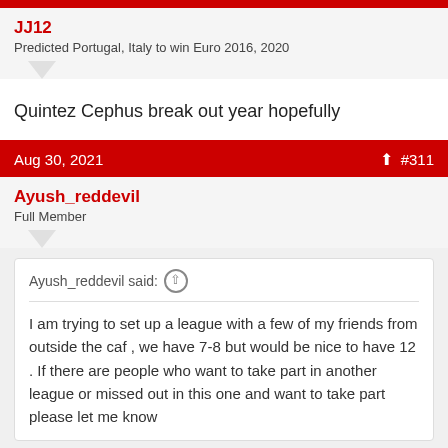JJ12
Predicted Portugal, Italy to win Euro 2016, 2020
Quintez Cephus break out year hopefully
Aug 30, 2021  #311
Ayush_reddevil
Full Member
Ayush_reddevil said: I am trying to set up a league with a few of my friends from outside the caf , we have 7-8 but would be nice to have 12 . If there are people who want to take part in another league or missed out in this one and want to take part please let me know